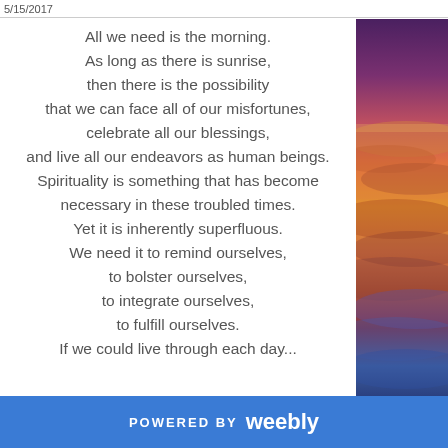5/15/2017
All we need is the morning.
As long as there is sunrise,
then there is the possibility
that we can face all of our misfortunes,
celebrate all our blessings,
and live all our endeavors as human beings.
Spirituality is something that has become
necessary in these troubled times.
Yet it is inherently superfluous.
We need it to remind ourselves,
to bolster ourselves,
to integrate ourselves,
to fulfill ourselves.
If we could live through each day...
[Figure (photo): A colorful sunset sky with vivid hues of purple, orange, red, yellow and blue, with cloud formations visible.]
POWERED BY weebly